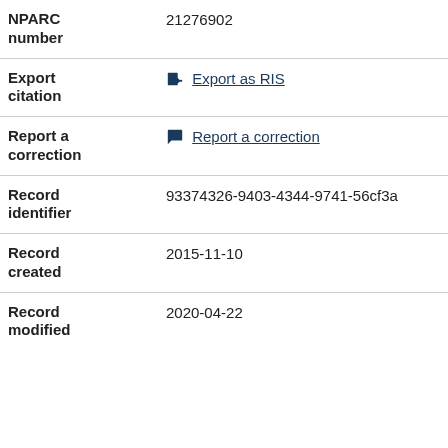| Field | Value |
| --- | --- |
| NPARC number | 21276902 |
| Export citation | Export as RIS |
| Report a correction | Report a correction |
| Record identifier | 93374326-9403-4344-9741-56cf3a... |
| Record created | 2015-11-10 |
| Record modified | 2020-04-22 |